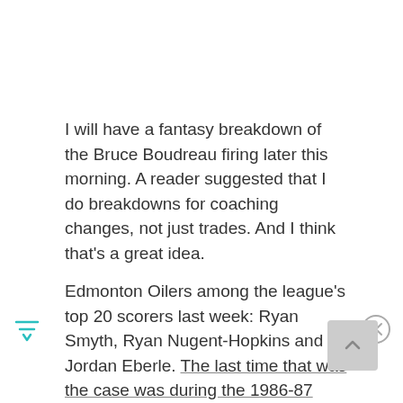I will have a fantasy breakdown of the Bruce Boudreau firing later this morning. A reader suggested that I do breakdowns for coaching changes, not just trades. And I think that's a great idea.
Edmonton Oilers among the league's top 20 scorers last week: Ryan Smyth, Ryan Nugent-Hopkins and Jordan Eberle. The last time that was the case was during the 1986-87 season when Wayne Gretzky was leading the league, Jari Kurri was second and Mark Messier was tied with Mario Lemieux for third. (Rich Chere)